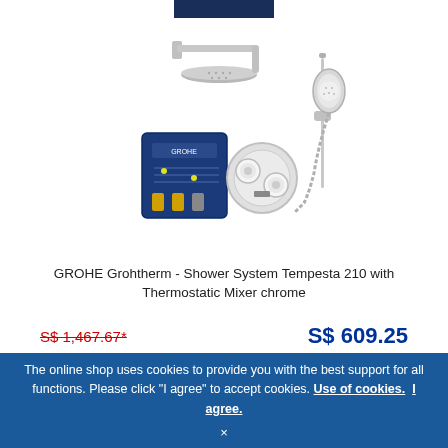[Figure (photo): GROHE Grohtherm shower system set with overhead rain shower on wall arm, thermostatic mixer, concealed installation box, and handheld shower on bar]
GROHE Grohtherm - Shower System Tempesta 210 with Thermostatic Mixer chrome
S$ 1,467.67* (strikethrough old price)   S$ 609.25 (new price)
Delivery time: ■■■ on stock
Article no.: 34727000
The online shop uses cookies to provide you with the best support for all functions. Please click "I agree" to accept cookies. Use of cookies. I agree.